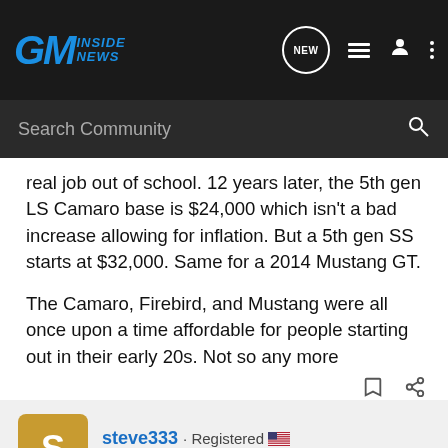GM Inside News
real job out of school. 12 years later, the 5th gen LS Camaro base is $24,000 which isn't a bad increase allowing for inflation. But a 5th gen SS starts at $32,000. Same for a 2014 Mustang GT.

The Camaro, Firebird, and Mustang were all once upon a time affordable for people starting out in their early 20s. Not so any more
steve333 · Registered
Joined Aug 8, 2005 · 7,536 Posts
#18 · Oct 1, 2014